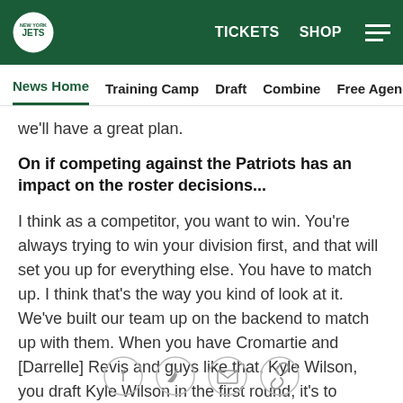JETS logo | TICKETS SHOP ☰
News Home  Training Camp  Draft  Combine  Free Agency  Fe...
we'll have a great plan.
On if competing against the Patriots has an impact on the roster decisions...
I think as a competitor, you want to win. You're always trying to win your division first, and that will set you up for everything else. You have to match up. I think that's the way you kind of look at it. We've built our team up on the backend to match up with them. When you have Cromartie and [Darrelle] Revis and guys like that, Kyle Wilson, you draft Kyle Wilson in the first round, it's to match up with those guys.
[Figure (other): Social sharing icons: Facebook, Twitter, Email, Link]